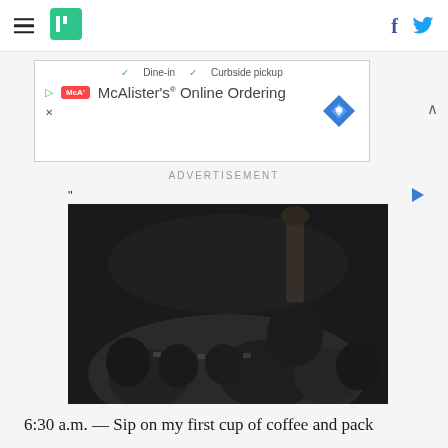HuffPost navigation with hamburger menu, logo, Facebook and Twitter icons
[Figure (screenshot): Ad banner for McAlister's Online Ordering showing Dine-in and Curbside pickup options with logo and navigation arrow diamond icon]
ADVERTISEMENT
[Figure (photo): Dark black-and-white photograph of a crowd with a raised fist in the air]
6:30 a.m. — Sip on my first cup of coffee and pack